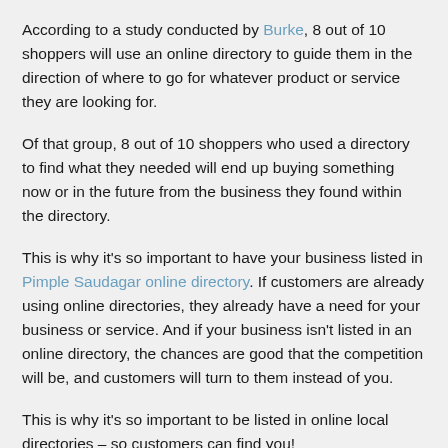According to a study conducted by Burke, 8 out of 10 shoppers will use an online directory to guide them in the direction of where to go for whatever product or service they are looking for.
Of that group, 8 out of 10 shoppers who used a directory to find what they needed will end up buying something now or in the future from the business they found within the directory.
This is why it's so important to have your business listed in Pimple Saudagar online directory. If customers are already using online directories, they already have a need for your business or service. And if your business isn't listed in an online directory, the chances are good that the competition will be, and customers will turn to them instead of you.
This is why it's so important to be listed in online local directories – so customers can find you!